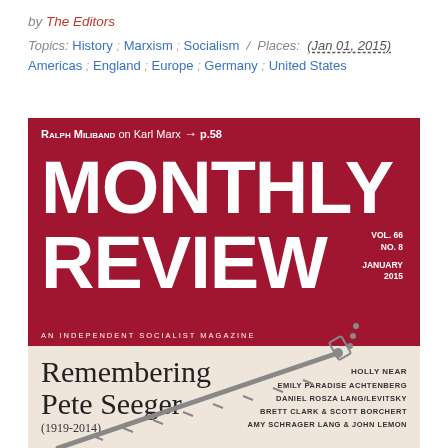by The Editors
Topics: History ; Marxism ; Socialism / Places: (Jan 01, 2015) Americas ; England ; Europe ; Germany ; United States
[Figure (illustration): Monthly Review magazine cover, Vol. 66 No. 8, January 2015. Red header with 'Ralph Miliband on Karl Marx → p.58', large white title 'MONTHLY REVIEW', 'AN INDEPENDENT SOCIALIST MAGAZINE'. Cream lower section with 'Remembering Pete Seeger (1919-2014)', names: Holly Near, Emily Paradise Achtenberg, Daniel Rosza Lang/Levitsky, Brett Clark & Scott Borchert, Amy Schrager Lang & John Lemon. Illustration of a banjo neck.]